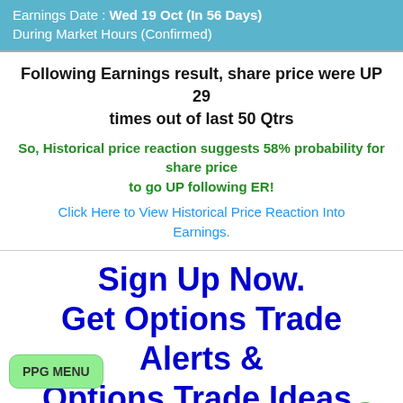Earnings Date : Wed 19 Oct (In 56 Days)
During Market Hours (Confirmed)
Following Earnings result, share price were UP 29 times out of last 50 Qtrs
So, Historical price reaction suggests 58% probability for share price to go UP following ER!
Click Here to View Historical Price Reaction Into Earnings.
Sign Up Now.
Get Options Trade Alerts &
Options Trade Ideas.
PPG MENU
Predicted Move on 1st Day:  Login to view